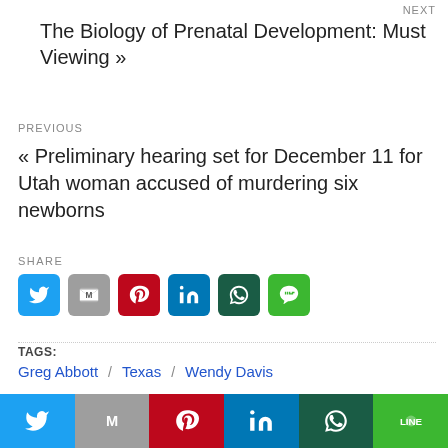NEXT
The Biology of Prenatal Development: Must Viewing »
PREVIOUS
« Preliminary hearing set for December 11 for Utah woman accused of murdering six newborns
SHARE
[Figure (infographic): Row of social share icon buttons: Twitter (blue), Gmail (gray), Pinterest (red), LinkedIn (blue), WhatsApp (dark green), Line (green)]
TAGS:
Greg Abbott / Texas / Wendy Davis
8 YEARS AGO
RELATED POST
[Figure (infographic): Bottom sharing bar with Twitter, Gmail, Pinterest, LinkedIn, WhatsApp, Line buttons]